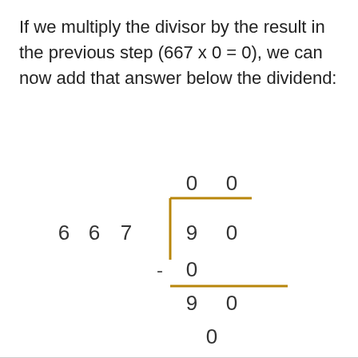If we multiply the divisor by the result in the previous step (667 x 0 = 0), we can now add that answer below the dividend:
[Figure (math-figure): Long division diagram showing 667 dividing 90, with quotient 00, subtraction of 0, remainder 90, and a final 0 below.]